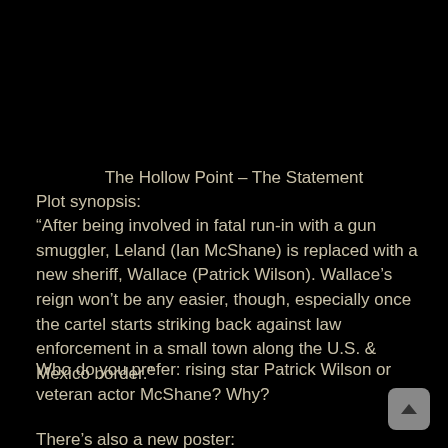The Hollow Point – The Statement
Plot synopsis:
“After being involved in fatal run-in with a gun smuggler, Leland (Ian McShane) is replaced with a new sheriff, Wallace (Patrick Wilson). Wallace’s reign won’t be any easier, though, especially once the cartel starts striking back against law enforcement in a small town along the U.S. & Mexico border.”
Who do you prefer: rising star Patrick Wilson or veteran actor McShane? Why?
There’s also a new poster: